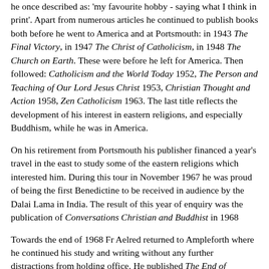he once described as: 'my favourite hobby - saying what I think in print'. Apart from numerous articles he continued to publish books both before he went to America and at Portsmouth: in 1943 The Final Victory, in 1947 The Christ of Catholicism, in 1948 The Church on Earth. These were before he left for America. Then followed: Catholicism and the World Today 1952, The Person and Teaching of Our Lord Jesus Christ 1953, Christian Thought and Action 1958, Zen Catholicism 1963. The last title reflects the development of his interest in eastern religions, and especially Buddhism, while he was in America.
On his retirement from Portsmouth his publisher financed a year's travel in the east to study some of the eastern religions which interested him. During this tour in November 1967 he was proud of being the first Benedictine to be received in audience by the Dalai Lama in India. The result of this year of enquiry was the publication of Conversations Christian and Buddhist in 1968
Towards the end of 1968 Fr Aelred returned to Ampleforth where he continued his study and writing without any further distractions from holding office. He published The End of Religion in 1971 and his last book Contemplative Christianity in 1974. In health Fr Aelred had never looked robust and from his days at Oxford had suffered a number of crises which were undoubtedly due to overwork but passed quickly. In 1971 on a visit to America he was taken ill and had to go to hospital. After his return to Ampleforth